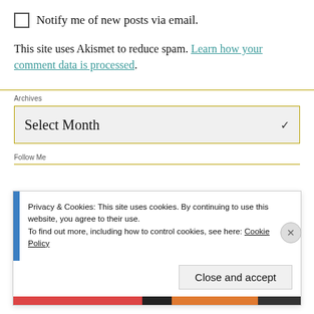Notify me of new posts via email.
This site uses Akismet to reduce spam. Learn how your comment data is processed.
Archives
Select Month
Follow Me
Privacy & Cookies: This site uses cookies. By continuing to use this website, you agree to their use.
To find out more, including how to control cookies, see here: Cookie Policy
Close and accept